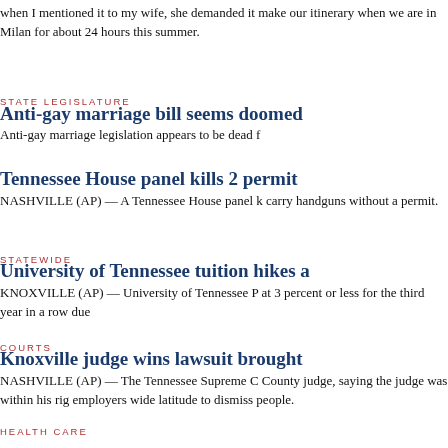when I mentioned it to my wife, she demanded it make our itinerary when we are in Milan for about 24 hours this summer.
STATE LEGISLATURE
Anti-gay marriage bill seems doomed
Anti-gay marriage legislation appears to be dead f
Tennessee House panel kills 2 permit
NASHVILLE (AP) — A Tennessee House panel k carry handguns without a permit.
STATEWIDE
University of Tennessee tuition hikes a
KNOXVILLE (AP) — University of Tennessee P at 3 percent or less for the third year in a row due
COURTS
Knoxville judge wins lawsuit brought
NASHVILLE (AP) — The Tennessee Supreme C County judge, saying the judge was within his rig employers wide latitude to dismiss people.
HEALTH CARE
Tennessee voters who didn't like healt
SHELBYVILLE (AP) — In Rep. Scott DesJarlais